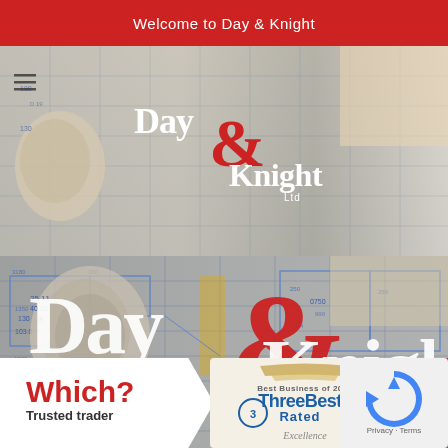Welcome to Day & Knight
[Figure (screenshot): Day & Knight Ltd website homepage screenshot showing company logo over blueprint/construction drawings background]
[Figure (logo): Day & Knight Ltd logo — large version overlaid on blueprint background image]
[Figure (logo): Which? Trusted Trader badge]
[Figure (logo): ThreeBest Rated Best Business of 2024 Excellence badge]
[Figure (logo): reCAPTCHA Privacy Terms widget]